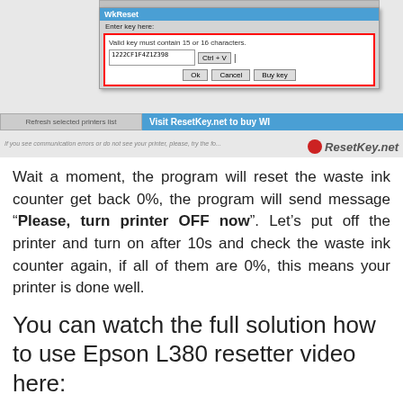[Figure (screenshot): WkReset dialog box screenshot showing key entry field with red border highlight, Ctrl+V button, Ok/Cancel/Buy key buttons, and ResetKey.net branding banner at bottom]
Wait a moment, the program will reset the waste ink counter get back 0%, the program will send message “Please, turn printer OFF now”. Let’s put off the printer and turn on after 10s and check the waste ink counter again, if all of them are 0%, this means your printer is done well.
You can watch the full solution how to use Epson L380 resetter video here: